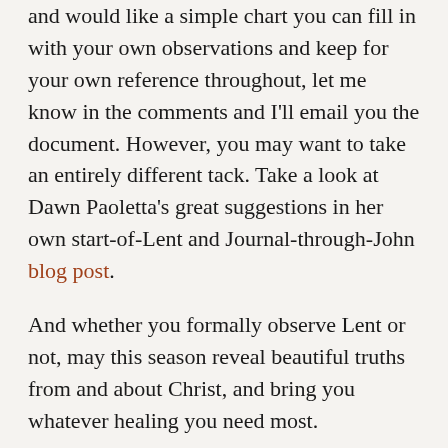and would like a simple chart you can fill in with your own observations and keep for your own reference throughout, let me know in the comments and I'll email you the document. However, you may want to take an entirely different tack. Take a look at Dawn Paoletta's great suggestions in her own start-of-Lent and Journal-through-John blog post.
And whether you formally observe Lent or not, may this season reveal beautiful truths from and about Christ, and bring you whatever healing you need most.
*****